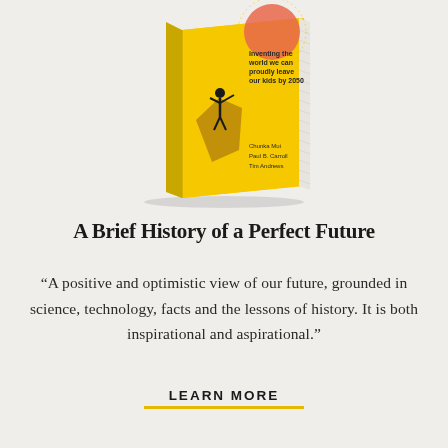[Figure (illustration): Book cover of 'A Brief History of a Perfect Future' shown in 3D perspective. Yellow cover with a silhouette figure and a coral/orange circle. Text on cover reads 'Inventing the world we can proudly leave our kids by 2050' and authors 'Chunka Mui, Paul B. Carroll, Tim Andrews'.]
A Brief History of a Perfect Future
“A positive and optimistic view of our future, grounded in science, technology, facts and the lessons of history. It is both inspirational and aspirational.”
LEARN MORE